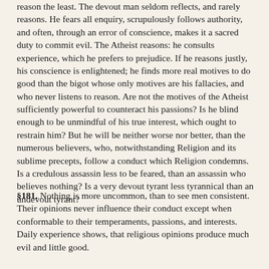reason the least. The devout man seldom reflects, and rarely reasons. He fears all enquiry, scrupulously follows authority, and often, through an error of conscience, makes it a sacred duty to commit evil. The Atheist reasons: he consults experience, which he prefers to prejudice. If he reasons justly, his conscience is enlightened; he finds more real motives to do good than the bigot whose only motives are his fallacies, and who never listens to reason. Are not the motives of the Atheist sufficiently powerful to counteract his passions? Is he blind enough to be unmindful of his true interest, which ought to restrain him? But he will be neither worse nor better, than the numerous believers, who, notwithstanding Religion and its sublime precepts, follow a conduct which Religion condemns. Is a credulous assassin less to be feared, than an assassin who believes nothing? Is a very devout tyrant less tyrannical than an undevout tyrant?
§181. Nothing is more uncommon, than to see men consistent. Their opinions never influence their conduct except when conformable to their temperaments, passions, and interests. Daily experience shows, that religious opinions produce much evil and little good.